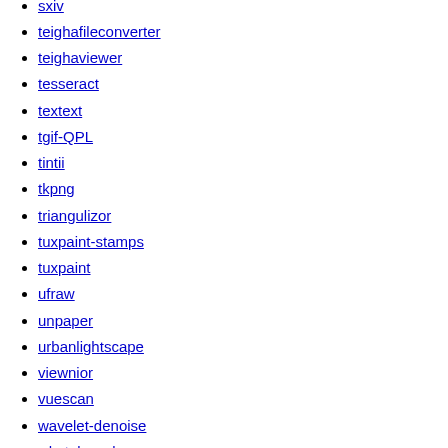sxiv
teighafileconverter
teighaviewer
tesseract
textext
tgif-QPL
tintii
tkpng
triangulizor
tuxpaint-stamps
tuxpaint
ufraw
unpaper
urbanlightscape
viewnior
vuescan
wavelet-denoise
whyteboard
xbmbrowser
xdot
xli
xmedcon
xpe
xzgv
yafaray-blender